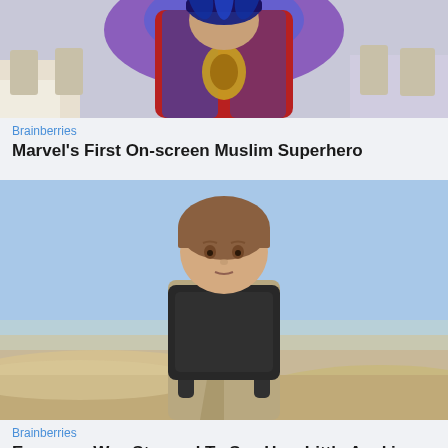[Figure (photo): Person wearing decorative red and blue traditional/costume clothing with ornate jewelry, indoors at what appears to be a banquet hall with chairs and tables]
Brainberries
Marvel's First On-screen Muslim Superhero
[Figure (photo): Young boy with brown hair wearing a tan robe and black backpack, standing in a sandy outdoor setting with a blue sky background — resembling young Anakin Skywalker from Star Wars]
Brainberries
Everyone Was Stunned To See How Little Anakin